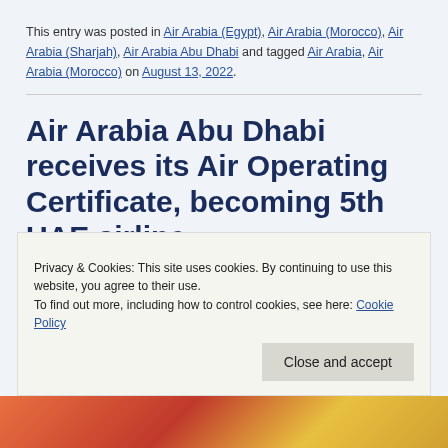This entry was posted in Air Arabia (Egypt), Air Arabia (Morocco), Air Arabia (Sharjah), Air Arabia Abu Dhabi and tagged Air Arabia, Air Arabia (Morocco) on August 13, 2022.
Air Arabia Abu Dhabi receives its Air Operating Certificate, becoming 5th UAE airline
Privacy & Cookies: This site uses cookies. By continuing to use this website, you agree to their use.
To find out more, including how to control cookies, see here: Cookie Policy
[Figure (photo): Bottom strip of an image, showing aircraft in orange/red/gold tones]